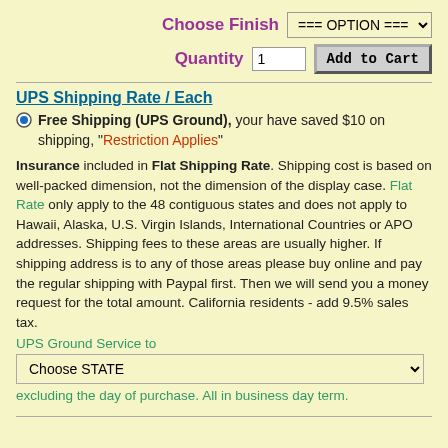Choose Finish  === OPTION ===
Quantity  1  Add to Cart
UPS Shipping Rate / Each
Free Shipping (UPS Ground), your have saved $10 on shipping, "Restriction Applies"
Insurance included in Flat Shipping Rate. Shipping cost is based on well-packed dimension, not the dimension of the display case. Flat Rate only apply to the 48 contiguous states and does not apply to Hawaii, Alaska, U.S. Virgin Islands, International Countries or APO addresses. Shipping fees to these areas are usually higher. If shipping address is to any of those areas please buy online and pay the regular shipping with Paypal first. Then we will send you a money request for the total amount. California residents - add 9.5% sales tax.
UPS Ground Service to
Choose STATE
excluding the day of purchase. All in business day term.